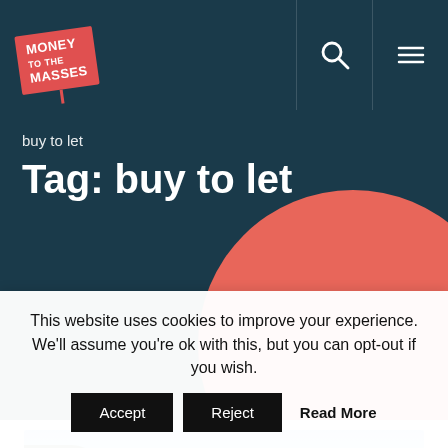[Figure (logo): Money to the Masses logo — red sign on a post]
buy to let
Tag: buy to let
[Figure (photo): Photograph of a stone building with arched windows against a blue sky]
This website uses cookies to improve your experience. We'll assume you're ok with this, but you can opt-out if you wish.
Accept   Reject   Read More